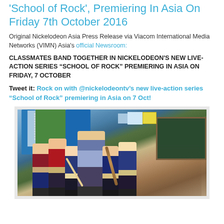'School of Rock', Premiering In Asia On Friday 7th October 2016
Original Nickelodeon Asia Press Release via Viacom International Media Networks (VIMN) Asia's official Newsroom:
CLASSMATES BAND TOGETHER IN NICKELODEON'S NEW LIVE-ACTION SERIES “SCHOOL OF ROCK” PREMIERING IN ASIA ON FRIDAY, 7 OCTOBER
Tweet it: Rock on with @nickelodeontv’s new live-action series “School of Rock” premiering in Asia on 7 Oct!
[Figure (photo): Group photo of cast members from School of Rock TV series in a classroom setting, wearing school uniforms]